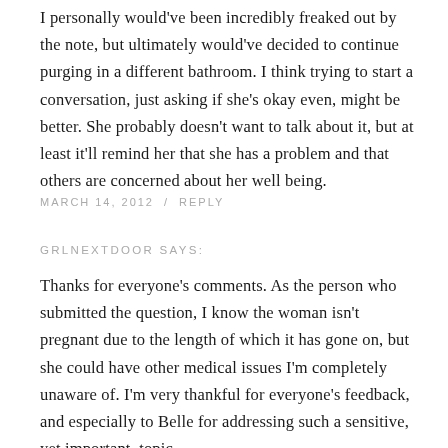I personally would've been incredibly freaked out by the note, but ultimately would've decided to continue purging in a different bathroom. I think trying to start a conversation, just asking if she's okay even, might be better. She probably doesn't want to talk about it, but at least it'll remind her that she has a problem and that others are concerned about her well being.
MARCH 14, 2012  /  REPLY
GRLNEXTDOOR SAYS:
Thanks for everyone's comments. As the person who submitted the question, I know the woman isn't pregnant due to the length of which it has gone on, but she could have other medical issues I'm completely unaware of. I'm very thankful for everyone's feedback, and especially to Belle for addressing such a sensitive, yet important, topic.